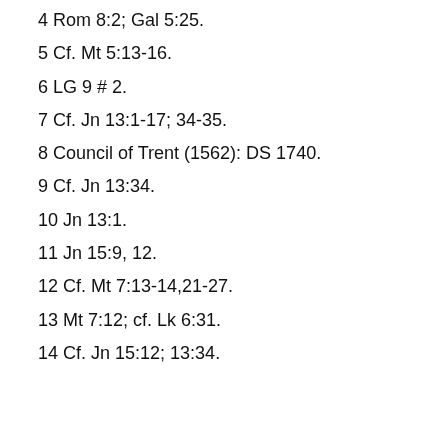4 Rom 8:2; Gal 5:25.
5 Cf. Mt 5:13-16.
6 LG 9 # 2.
7 Cf. Jn 13:1-17; 34-35.
8 Council of Trent (1562): DS 1740.
9 Cf. Jn 13:34.
10 Jn 13:1.
11 Jn 15:9, 12.
12 Cf. Mt 7:13-14,21-27.
13 Mt 7:12; cf. Lk 6:31.
14 Cf. Jn 15:12; 13:34.